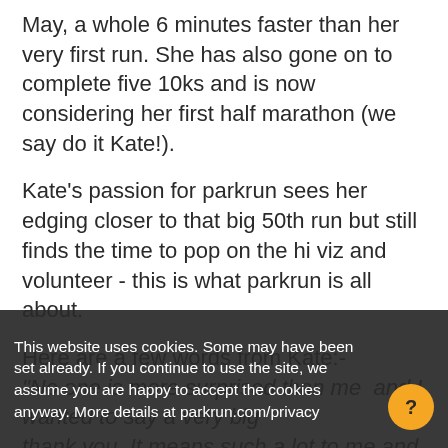May, a whole 6 minutes faster than her very first run. She has also gone on to complete five 10ks and is now considering her first half marathon (we say do it Kate!).
Kate's passion for parkrun sees her edging closer to that big 50th run but still finds the time to pop on the hi viz and volunteer - this is what parkrun is all about.
Here are a few words from Kate:- "No one is more surprised than me  and I wanted to say a very big thank you. It means such a lot to me and I'm very grateful for everything park run has brought me - lots of new friends and people to smile at and chat to and a realisation that actually, I can...
This website uses cookies. Some may have been set already. If you continue to use the site, we assume you are happy to accept the cookies anyway. More details at parkrun.com/privacy